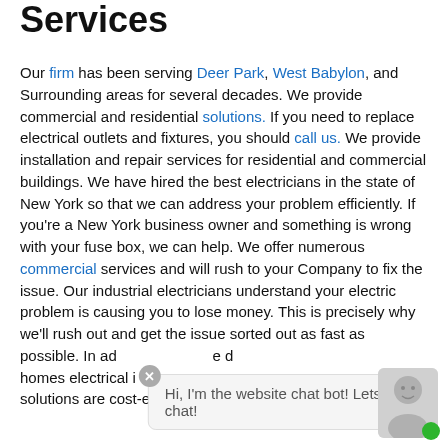Services
Our firm has been serving Deer Park, West Babylon, and Surrounding areas for several decades. We provide commercial and residential solutions. If you need to replace electrical outlets and fixtures, you should call us. We provide installation and repair services for residential and commercial buildings. We have hired the best electricians in the state of New York so that we can address your problem efficiently. If you're a New York business owner and something is wrong with your fuse box, we can help. We offer numerous commercial services and will rush to your Company to fix the issue. Our industrial electricians understand your electric problem is causing you to lose money. This is precisely why we'll rush out and get the issue sorted out as fast as possible. In ad... homes electrical i... solutions are cost-effective and dependable.